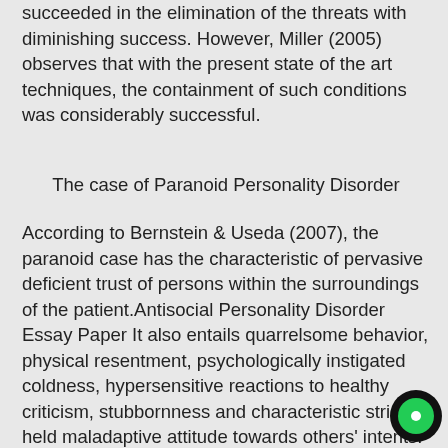succeeded in the elimination of the threats with diminishing success. However, Miller (2005) observes that with the present state of the art techniques, the containment of such conditions was considerably successful.
The case of Paranoid Personality Disorder
According to Bernstein & Useda (2007), the paranoid case has the characteristic of pervasive deficient trust of persons within the surroundings of the patient.Antisocial Personality Disorder Essay Paper It also entails quarrelsome behavior, physical resentment, psychologically instigated coldness, hypersensitive reactions to healthy criticism, stubbornness and characteristic strictly held maladaptive attitude towards others' intents.  These individuals have internalized the perception that personages within their surroundings have malevolent motives.